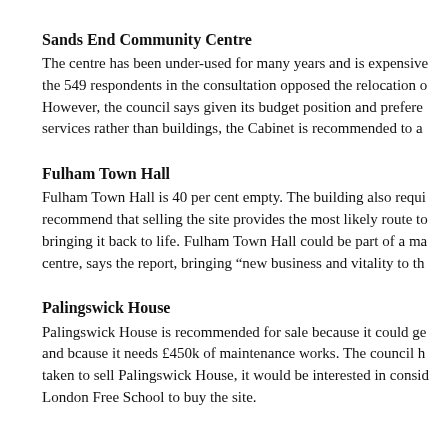Sands End Community Centre
The centre has been under-used for many years and is expensive to run. 72% of the 549 respondents in the consultation opposed the relocation of the centre. However, the council says given its budget position and preference to invest in services rather than buildings, the Cabinet is recommended to ap...
Fulham Town Hall
Fulham Town Hall is 40 per cent empty. The building also requi... recommend that selling the site provides the most likely route to... bringing it back to life. Fulham Town Hall could be part of a ma... centre, says the report, bringing “new business and vitality to th...
Palingswick House
Palingswick House is recommended for sale because it could ge... and bcause it needs £450k of maintenance works. The council h... taken to sell Palingswick House, it would be interested in consid... London Free School to buy the site.